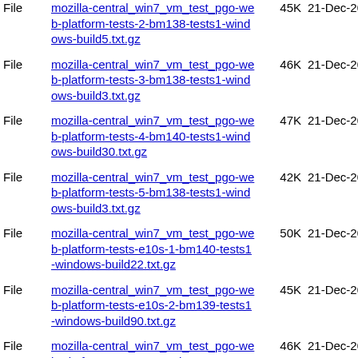| Type | Name | Size | Date |
| --- | --- | --- | --- |
| File | mozilla-central_win7_vm_test_pgo-web-platform-tests-2-bm138-tests1-windows-build5.txt.gz | 45K | 21-Dec-2016 15:10 |
| File | mozilla-central_win7_vm_test_pgo-web-platform-tests-3-bm138-tests1-windows-build3.txt.gz | 46K | 21-Dec-2016 14:47 |
| File | mozilla-central_win7_vm_test_pgo-web-platform-tests-4-bm140-tests1-windows-build30.txt.gz | 47K | 21-Dec-2016 14:55 |
| File | mozilla-central_win7_vm_test_pgo-web-platform-tests-5-bm138-tests1-windows-build3.txt.gz | 42K | 21-Dec-2016 14:42 |
| File | mozilla-central_win7_vm_test_pgo-web-platform-tests-e10s-1-bm140-tests1-windows-build22.txt.gz | 50K | 21-Dec-2016 14:55 |
| File | mozilla-central_win7_vm_test_pgo-web-platform-tests-e10s-2-bm139-tests1-windows-build90.txt.gz | 45K | 21-Dec-2016 15:15 |
| File | mozilla-central_win7_vm_test_pgo-web-platform-tests-e10s-3-bm140-tests1-windows-build69.txt.gz | 46K | 21-Dec-2016 14:43 |
| File | mozilla-central_win7_vm_test_pgo-web-platform-tests-e10s-4-bm129-tests1-windows-build6.txt.gz | 49K | 21-Dec-2016 14:58 |
| File | mozilla-central_win7_vm_test_pgo-web-... |  | 21-Dec-... |